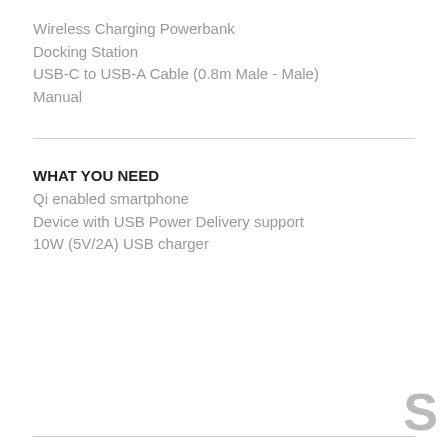Wireless Charging Powerbank
Docking Station
USB-C to USB-A Cable (0.8m Male - Male)
Manual
WHAT YOU NEED
Qi enabled smartphone
Device with USB Power Delivery support
10W (5V/2A) USB charger
S